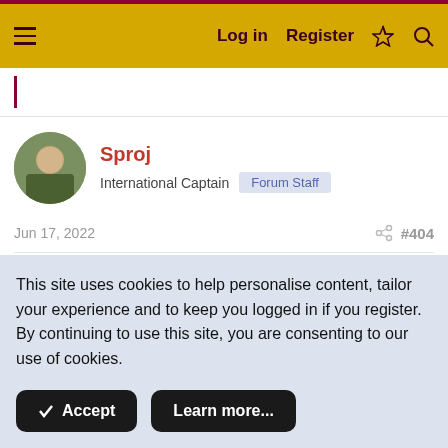Log in   Register
Sproj
International Captain   Forum Staff
Jun 17, 2022   #404
Astro said:
This site uses cookies to help personalise content, tailor your experience and to keep you logged in if you register.
By continuing to use this site, you are consenting to our use of cookies.